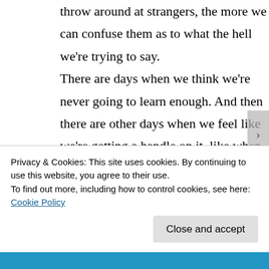throw around at strangers, the more we can confuse them as to what the hell we're trying to say.
There are days when we think we're never going to learn enough. And then there are other days when we feel like we're getting a handle on it, like when we can finally translate the stop
Privacy & Cookies: This site uses cookies. By continuing to use this website, you agree to their use.
To find out more, including how to control cookies, see here: Cookie Policy